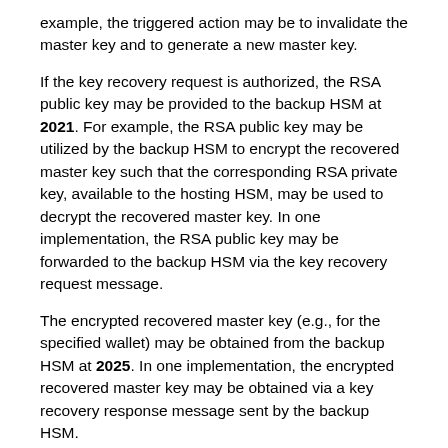example, the triggered action may be to invalidate the master key and to generate a new master key.
If the key recovery request is authorized, the RSA public key may be provided to the backup HSM at 2021. For example, the RSA public key may be utilized by the backup HSM to encrypt the recovered master key such that the corresponding RSA private key, available to the hosting HSM, may be used to decrypt the recovered master key. In one implementation, the RSA public key may be forwarded to the backup HSM via the key recovery request message.
The encrypted recovered master key (e.g., for the specified wallet) may be obtained from the backup HSM at 2025. In one implementation, the encrypted recovered master key may be obtained via a key recovery response message sent by the backup HSM.
The encrypted master key may be provided to the hosting HSM at 2029. For example, the hosting HSM may decrypt and/or store the recovered master key for the specified wallet. In one implementation, the encrypted master key may be forwarded to the hosting HSM via a master key